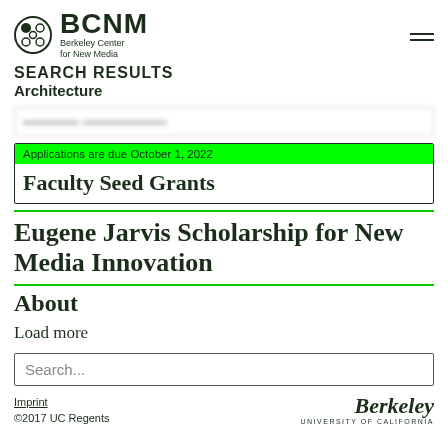BCNM Berkeley Center for New Media
SEARCH RESULTS
Architecture
[blurred result item - partially visible]
Applications are due October 1, 2022
Faculty Seed Grants
Eugene Jarvis Scholarship for New Media Innovation
About
Load more
Search...
Imprint
©2017 UC Regents
[Figure (logo): Berkeley University of California logo]